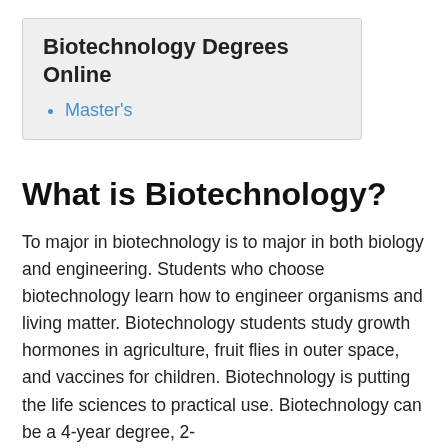Biotechnology Degrees Online
Master's
What is Biotechnology?
To major in biotechnology is to major in both biology and engineering. Students who choose biotechnology learn how to engineer organisms and living matter. Biotechnology students study growth hormones in agriculture, fruit flies in outer space, and vaccines for children. Biotechnology is putting the life sciences to practical use. Biotechnology can be a 4-year degree, 2-